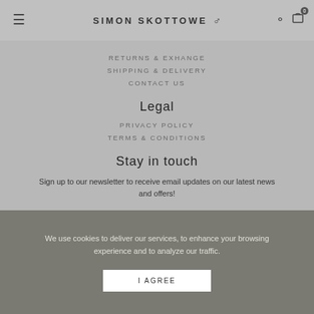Simon Skottowe
RETURNS & EXHANGE
SHIPPING & DELIVERY
CONTACT US
Legal
PRIVACY POLICY
TERMS & CONDITIONS
Stay in touch
Sign up to our newsletter to receive email updates on our latest news and offers!
We use cookies to deliver our services, to enhance your browsing experience and to analyze our traffic.